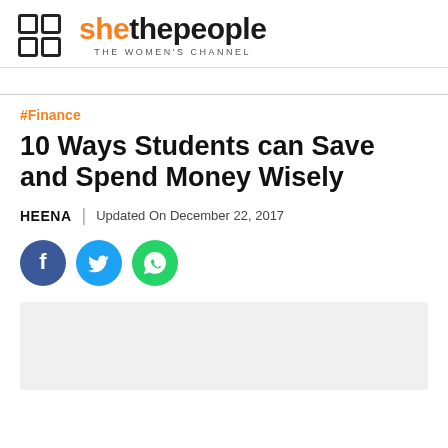shethepeople | THE WOMEN'S CHANNEL
#Finance
10 Ways Students can Save and Spend Money Wisely
HEENA | Updated On December 22, 2017
[Figure (other): Social share icons: Facebook, Twitter, WhatsApp]
[Figure (photo): Article image placeholder (light grey)]